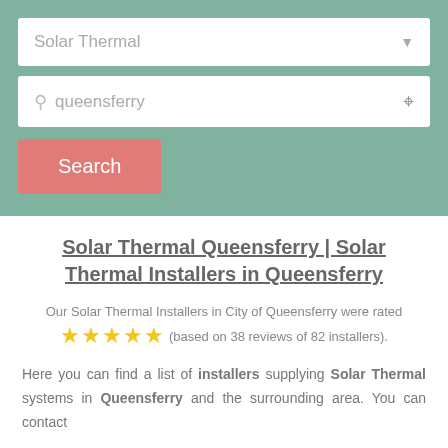[Figure (screenshot): Search interface with two input fields: a dropdown showing 'Solar Thermal' and a location field showing 'queensferry', plus a coral-colored Search button, all on a teal/sage green background.]
Solar Thermal Queensferry | Solar Thermal Installers in Queensferry
Our Solar Thermal Installers in City of Queensferry were rated
(based on 38 reviews of 82 installers).
Here you can find a list of installers supplying Solar Thermal systems in Queensferry and the surrounding area. You can contact